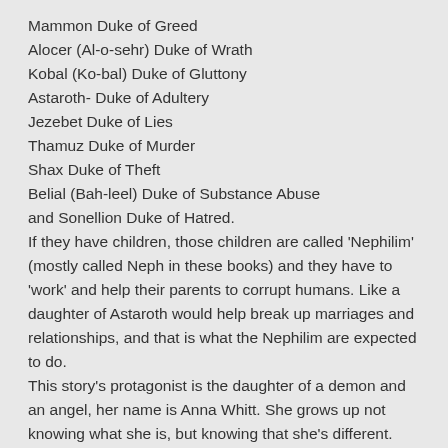Mammon Duke of Greed
Alocer (Al-o-sehr) Duke of Wrath
Kobal (Ko-bal) Duke of Gluttony
Astaroth- Duke of Adultery
Jezebet Duke of Lies
Thamuz Duke of Murder
Shax Duke of Theft
Belial (Bah-leel) Duke of Substance Abuse
and Sonellion Duke of Hatred.
If they have children, those children are called 'Nephilim' (mostly called Neph in these books) and they have to 'work' and help their parents to corrupt humans. Like a daughter of Astaroth would help break up marriages and relationships, and that is what the Nephilim are expected to do.
This story's protagonist is the daughter of a demon and an angel, her name is Anna Whitt. She grows up not knowing what she is, but knowing that she's different. She can see and feel other people's emotions, has heightened abilities and an amazing memory. And she's a goodie two shoes, pure and innocent, until,